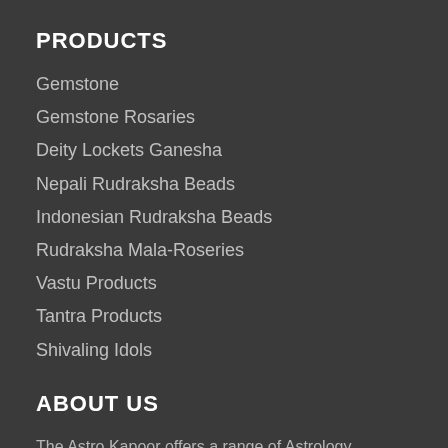PRODUCTS
Gemstone
Gemstone Rosaries
Deity Lockets Ganesha
Nepali Rudraksha Beads
Indonesian Rudraksha Beads
Rudraksha Mala-Roseries
Vastu Products
Tantra Products
Shivaling Idols
ABOUT US
The Astro Kapoor offers a range of Astrology Consultations,